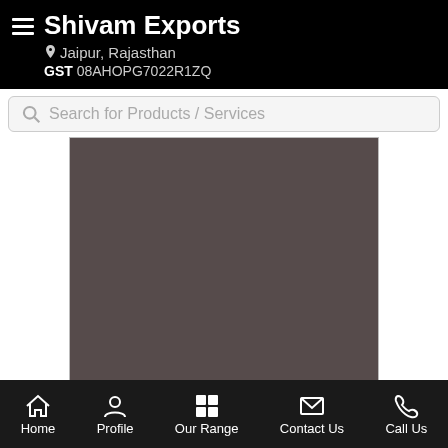Shivam Exports | Jaipur, Rajasthan | GST 08AHOPG7022R1ZQ
Search for Products / Services
[Figure (photo): Product image placeholder — dark brownish-gray rectangle representing a product photo]
Approx. Price: Rs 310 / Piece
Home | Profile | Our Range | Contact Us | Call Us